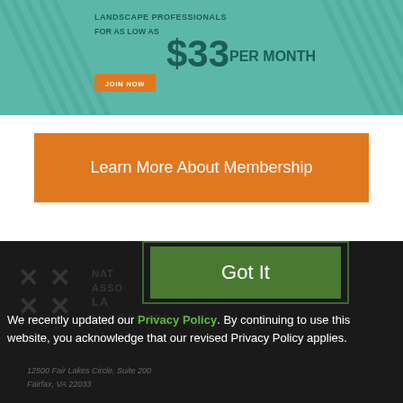[Figure (infographic): Green teal banner ad for landscape professionals membership for as low as $33 per month with a JOIN NOW button and diagonal stripe accents]
Learn More About Membership
[Figure (screenshot): Dark footer with National Association of Landscape Professionals logo watermark and cookie consent overlay with Got It button and privacy policy text]